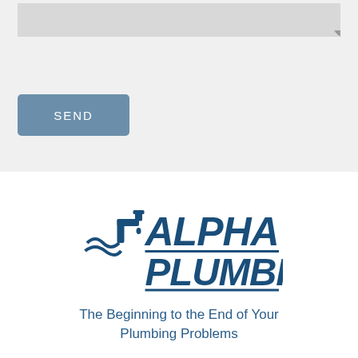[Figure (screenshot): Grey form area with a text area input box at top and a blue SEND button below]
[Figure (logo): Alpha Plumbing logo in dark blue italic text with a faucet/water icon on the left]
The Beginning to the End of Your Plumbing Problems